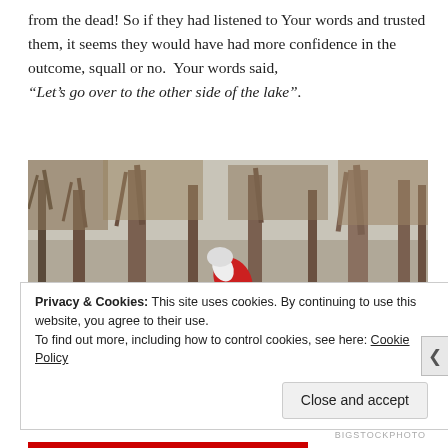from the dead! So if they had listened to Your words and trusted them, it seems they would have had more confidence in the outcome, squall or no. Your words said, “Let’s go over to the other side of the lake”.
[Figure (photo): Outdoor photo of two cyclists on mountain bikes riding through a grassy woodland area with bare trees in the background. The lead cyclist wears a red and white jacket and black shorts, and a second smaller cyclist in a blue jacket and blue helmet follows behind.]
Privacy & Cookies: This site uses cookies. By continuing to use this website, you agree to their use.
To find out more, including how to control cookies, see here: Cookie Policy